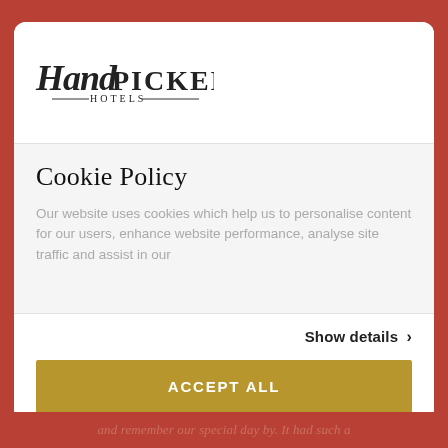[Figure (logo): Handpicked Hotels logo: stylized script 'Hand' combined with 'PICKED' in serif capitals, 'HOTELS' in small caps below with decorative lines on either side]
Cookie Policy
Our website uses cookies which help us to personalise content for our users, enhance website performance, analyse site traffic and assist in our
Show details >
ACCEPT ALL
MANAGE >
Powered by Cookiebot by Usercentrics
and remember our special day by. It had such a